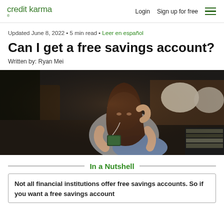credit karma | Login | Sign up for free
Updated June 8, 2022 • 5 min read • Leer en español
Can I get a free savings account?
Written by: Ryan Mei
[Figure (photo): Woman sitting on floor leaning against a couch, looking at her smartphone with earphones in, in a dimly lit room]
In a Nutshell
Not all financial institutions offer free savings accounts. So if you want a free savings account